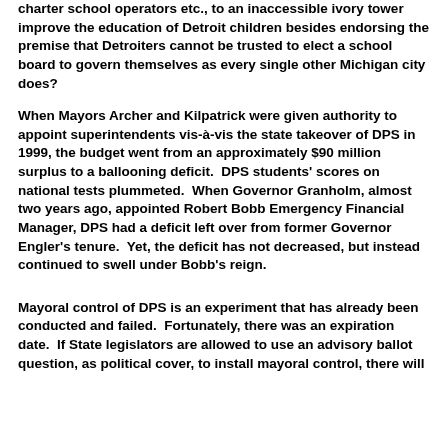charter school operators etc., to an inaccessible ivory tower improve the education of Detroit children besides endorsing the premise that Detroiters cannot be trusted to elect a school board to govern themselves as every single other Michigan city does?
When Mayors Archer and Kilpatrick were given authority to appoint superintendents vis-à-vis the state takeover of DPS in 1999, the budget went from an approximately $90 million surplus to a ballooning deficit.  DPS students' scores on national tests plummeted.  When Governor Granholm, almost two years ago, appointed Robert Bobb Emergency Financial Manager, DPS had a deficit left over from former Governor Engler's tenure.  Yet, the deficit has not decreased, but instead continued to swell under Bobb's reign.
Mayoral control of DPS is an experiment that has already been conducted and failed.  Fortunately, there was an expiration date.  If State legislators are allowed to use an advisory ballot question, as political cover, to install mayoral control, there will